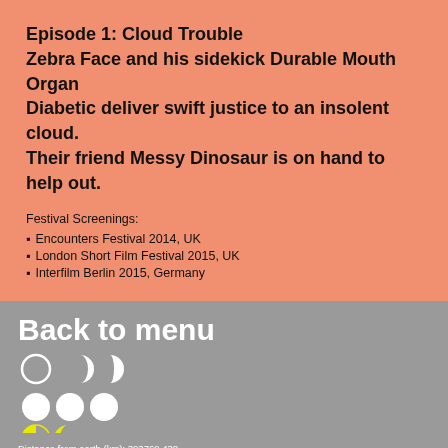Episode 1: Cloud Trouble
Zebra Face and his sidekick Durable Mouth Organ Diabetic deliver swift justice to an insolent cloud. Their friend Messy Dinosaur is on hand to help out.
Festival Screenings:
Encounters Festival 2014, UK
London Short Film Festival 2015, UK
Interfilm Berlin 2015, Germany
Back to menu
[Figure (illustration): Moon phase icons: row 1 has a circle outline (new moon) and two crescent shapes; row 2 has three filled circles; row 3 has a yellow half-moon and a small crescent, both in yellow.]
Distance from earth (km): 393769.438
Current phase: Last Quarter
Illumination (hue): 59.148%
Current angle: 1.275°
Moon rise: Thu Aug 18 2022 21:54:42 GMT+0000 (Coordinated Universal Time)
Moon set: Thu Aug 18 2022 12:40:45 GMT+0000 (Coordinated Universal Time)